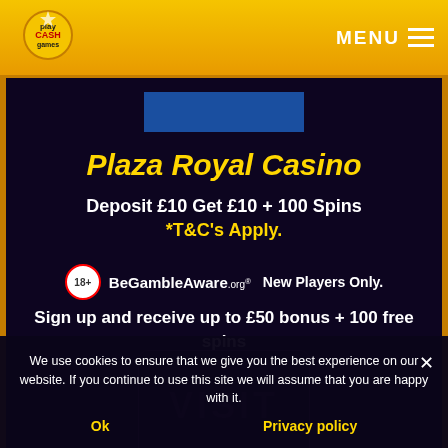Play Cash Games — MENU
Plaza Royal Casino
Deposit £10 Get £10 + 100 Spins *T&C's Apply.
18+ BeGambleAware.org New Players Only.
Sign up and receive up to £50 bonus + 100 free spins
We use cookies to ensure that we give you the best experience on our website. If you continue to use this site we will assume that you are happy with it.
Ok  Privacy policy